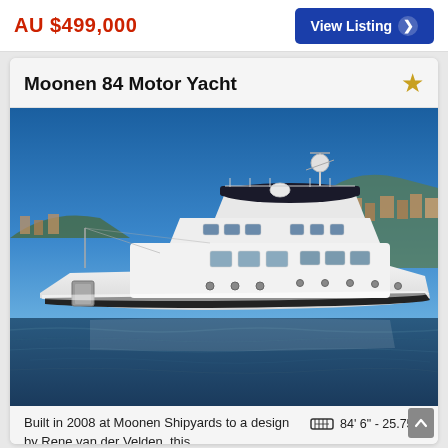AU $499,000
View Listing
Moonen 84 Motor Yacht
[Figure (photo): Large white motor yacht photographed on calm water with a hillside town visible in the background under a clear blue sky. The yacht is the Moonen 84, a sleek multi-deck motor yacht.]
Built in 2008 at Moonen Shipyards to a design by Rene van der Velden, this
84' 6" - 25.75m